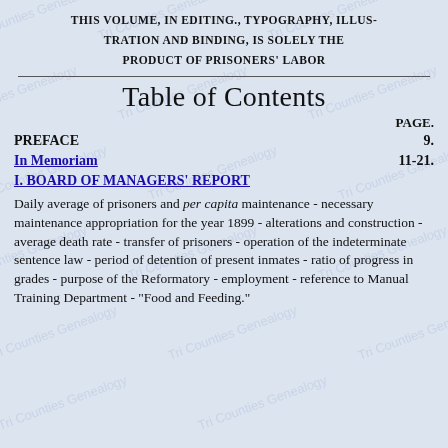THIS VOLUME, IN EDITING., TYPOGRAPHY, ILLUSTRATION AND BINDING, IS SOLELY THE PRODUCT OF PRISONERS' LABOR
Table of Contents
PAGE.
PREFACE    9.
In Memoriam    11-21.
I. BOARD OF MANAGERS' REPORT
Daily average of prisoners and per capita maintenance - necessary maintenance appropriation for the year 1899 - alterations and construction - average death rate - transfer of prisoners - operation of the indeterminate sentence law - period of detention of present inmates - ratio of progress in grades - purpose of the Reformatory - employment - reference to Manual Training Department - "Food and Feeding."